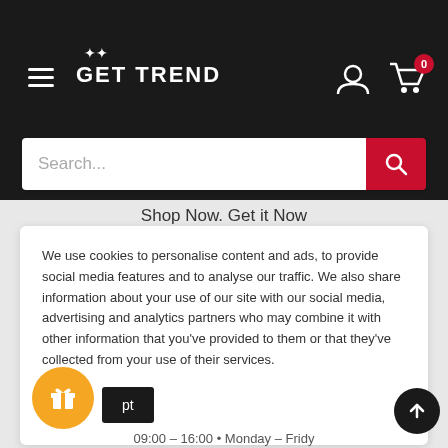[Figure (screenshot): Get Trend e-commerce website header with logo, hamburger menu, user icon, cart icon with badge showing 0, and a search bar with red search button]
Shop Now. Get it Now
We use cookies to personalise content and ads, to provide social media features and to analyse our traffic. We also share information about your use of our site with our social media, advertising and analytics partners who may combine it with other information that you've provided to them or that they've collected from your use of their services.